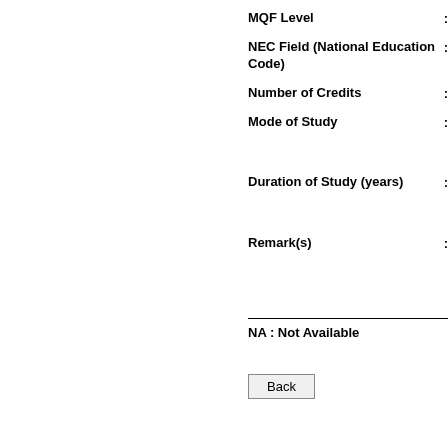MQF Level :
NEC Field (National Education Code) :
Number of Credits :
Mode of Study :
Duration of Study (years) :
Remark(s) :
NA : Not Available
Back